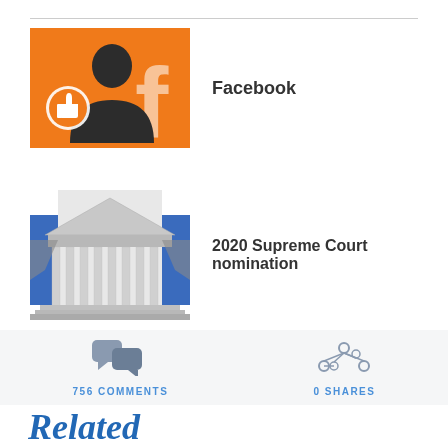[Figure (illustration): Facebook icon: orange background with a human silhouette and a thumbs-up like icon badge, with a large lowercase 'f' logo]
Facebook
[Figure (photo): Black and white photo of the US Supreme Court building with blue background rectangles on sides]
2020 Supreme Court nomination
[Figure (infographic): Chat bubble icons in gray indicating comments]
756 COMMENTS
[Figure (infographic): Network/share icon in gray indicating shares]
0 SHARES
Related